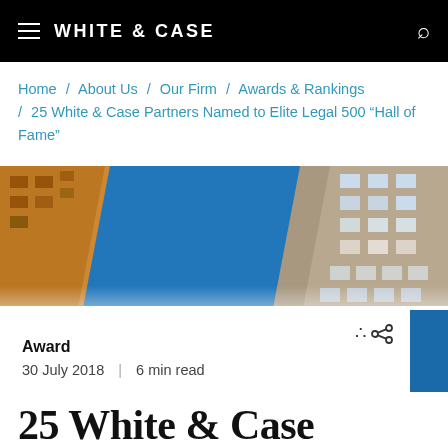WHITE & CASE
Home / About Us / Our Firm / Awards & Rankings / 25 White & Case Partners Named to Elite Legal 500 “Hall of Fame”
[Figure (photo): Upward-looking view of tall buildings against a blue sky, photo appears rotated/tilted]
Award
30 July 2018 | 6 min read
25 White & Case